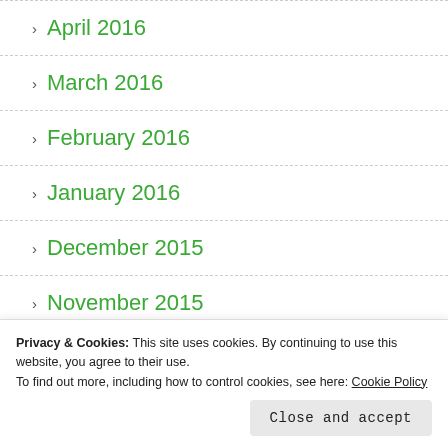> April 2016
> March 2016
> February 2016
> January 2016
> December 2015
> November 2015
> October 2015
Privacy & Cookies: This site uses cookies. By continuing to use this website, you agree to their use.
To find out more, including how to control cookies, see here: Cookie Policy
Close and accept